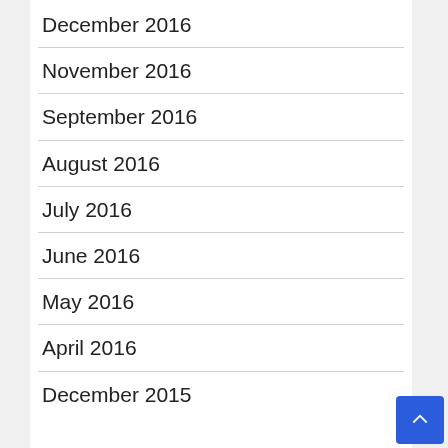December 2016
November 2016
September 2016
August 2016
July 2016
June 2016
May 2016
April 2016
December 2015